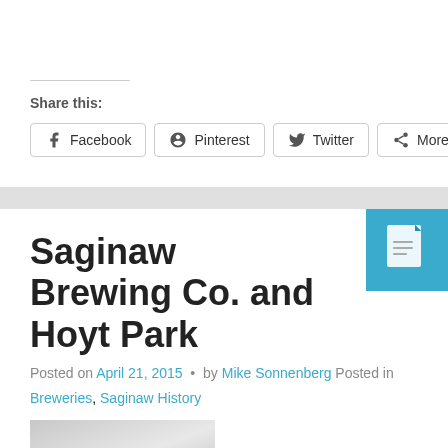Share this:
Facebook
Pinterest
Twitter
More
Saginaw Brewing Co. and Hoyt Park
Posted on April 21, 2015 • by Mike Sonnenberg Posted in
Breweries, Saginaw History
[Figure (photo): A partial photograph visible at bottom of page]